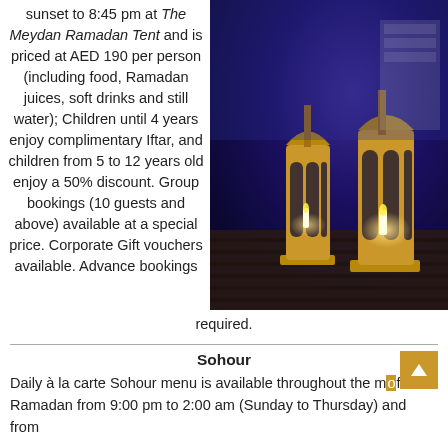sunset to 8:45 pm at The Meydan Ramadan Tent and is priced at AED 190 per person (including food, Ramadan juices, soft drinks and still water); Children until 4 years enjoy complimentary Iftar, and children from 5 to 12 years old enjoy a 50% discount. Group bookings (10 guests and above) available at a special price. Corporate Gift vouchers available. Advance bookings
[Figure (photo): Photo of golden Moroccan-style lanterns with candles lit inside, placed on a wooden deck surface with blue ambient lighting in the background]
required.
Sohour
Daily à la carte Sohour menu is available throughout the month of Ramadan from 9:00 pm to 2:00 am (Sunday to Thursday) and from